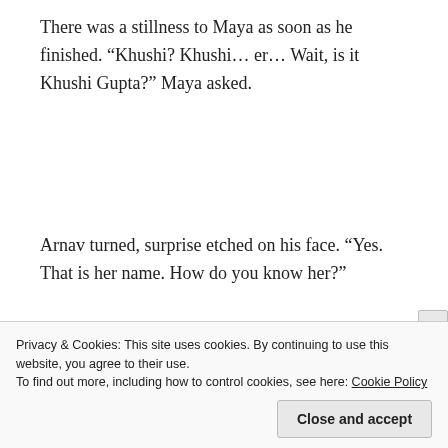There was a stillness to Maya as soon as he finished. “Khushi? Khushi… er… Wait, is it Khushi Gupta?” Maya asked.
Arnav turned, surprise etched on his face. “Yes. That is her name. How do you know her?”
Privacy & Cookies: This site uses cookies. By continuing to use this website, you agree to their use.
To find out more, including how to control cookies, see here: Cookie Policy
Close and accept